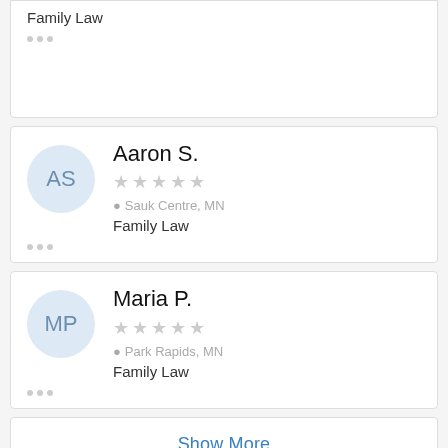Family Law
...
Aaron S.
★★★★★ (empty stars)
Sauk Centre, MN
Family Law
...
Maria P.
★★★★★ (empty stars)
Park Rapids, MN
Family Law
...
Show More